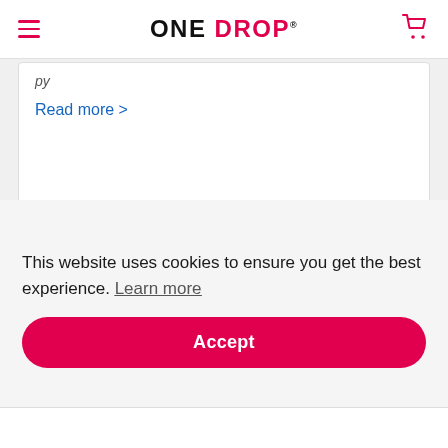ONE DROP
Read more >
[Figure (photo): A hand holding a blood glucose meter / medical device, with blurred background showing blue rounded objects on a light surface.]
This website uses cookies to ensure you get the best experience. Learn more
Accept